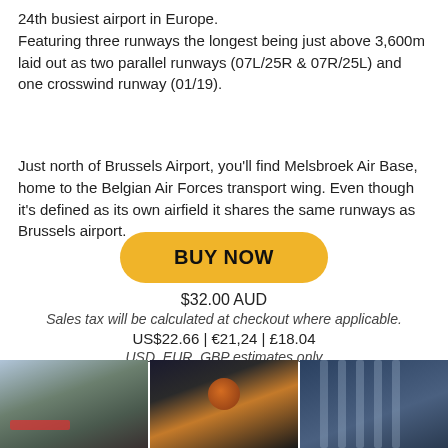24th busiest airport in Europe.
Featuring three runways the longest being just above 3,600m laid out as two parallel runways (07L/25R & 07R/25L) and one crosswind runway (01/19).
Just north of Brussels Airport, you'll find Melsbroek Air Base, home to the Belgian Air Forces transport wing. Even though it's defined as its own airfield it shares the same runways as Brussels airport.
BUY NOW
$32.00 AUD
Sales tax will be calculated at checkout where applicable.
US$22.66 | €21,24 | £18.04
USD, EUR, GBP estimates only
[Figure (photo): Three side-by-side photos of Brussels Airport: runway view, terminal entrance with logo backlit, and terminal interior with curved structural elements.]